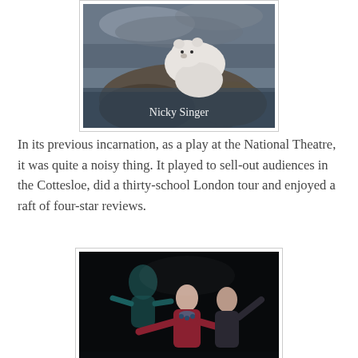[Figure (photo): Book cover showing a polar bear on rocks by a stormy sea, with the author name 'Nicky Singer' in white text]
In its previous incarnation, as a play at the National Theatre, it was quite a noisy thing. It played to sell-out audiences in the Cottesloe, did a thirty-school London tour and enjoyed a raft of four-star reviews.
[Figure (photo): Theatre production photo showing three actors on a dark stage, two in the foreground with arms outstretched looking upward, one in the background lit in teal/green]